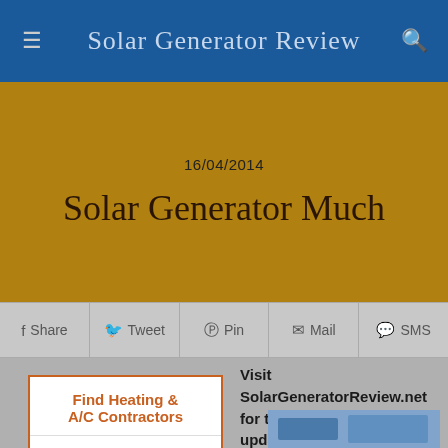Solar Generator Review
16/04/2014
Solar Generator Much
Share  Tweet  Pin  Mail  SMS
[Figure (other): Ad box: Find Heating & A/C Contractors with Get Free Quotes button]
Visit SolarGeneratorReview.net for the latest news and updates about all types of solar generators.....
[Figure (photo): Photo of solar panel/generator equipment]